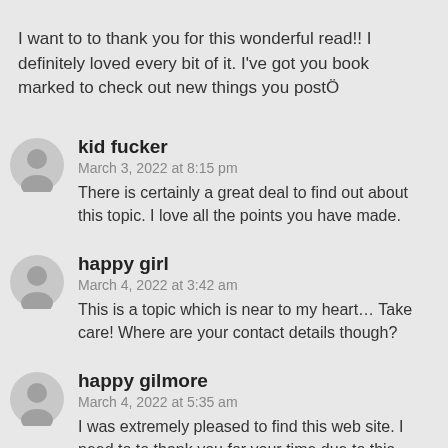I want to to thank you for this wonderful read!! I definitely loved every bit of it. I've got you book marked to check out new things you postÖ
kid fucker
March 3, 2022 at 8:15 pm
There is certainly a great deal to find out about this topic. I love all the points you have made.
happy girl
March 4, 2022 at 3:42 am
This is a topic which is near to my heart… Take care! Where are your contact details though?
happy gilmore
March 4, 2022 at 5:35 am
I was extremely pleased to find this web site. I need to to thank you for your time due to this fantastic read!! I definitely liked every little bit of it and I have you saved as a favorite to check out new information on your site.